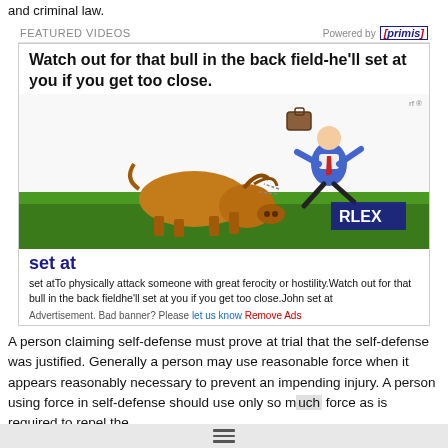and criminal law.
FEATURED VIDEOS
[Figure (illustration): Video thumbnail showing a cartoon bull charging a person (businessperson) who is being flung into the air, with a briefcase flying. Text overlay reads: 'Watch out for that bull in the back field-he'll set at you if you get too close.' A green field and watermark 'RLEX' appear at the bottom right.]
set at
set atTo physically attack someone with great ferocity or hostility.Watch out for that bull in the back fieldhe'll set at you if you get too close.John set at
Advertisement. Bad banner? Please let us know Remove Ads
A person claiming self-defense must prove at trial that the self-defense was justified. Generally a person may use reasonable force when it appears reasonably necessary to prevent an impending injury. A person using force in self-defense should use only so much force as is required to repel the